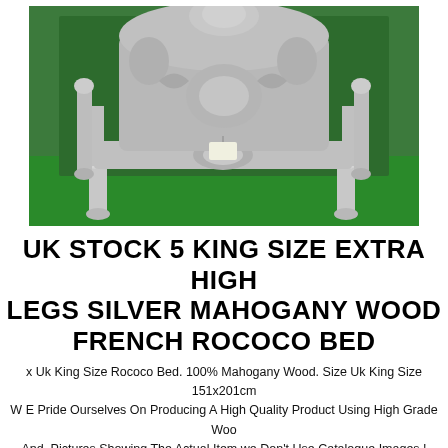[Figure (photo): A silver mahogany wood French Rococo bed with ornate carved headboard and high legs, photographed against a green background outdoors.]
UK STOCK 5 KING SIZE EXTRA HIGH LEGS SILVER MAHOGANY WOOD FRENCH ROCOCO BED
x Uk King Size Rococo Bed. 100% Mahogany Wood. Size Uk King Size 151x201cm W E Pride Ourselves On Producing A High Quality Product Using High Grade Woo And. Pictures Showing The Actual Item.we Don't Use Catalogue Images !